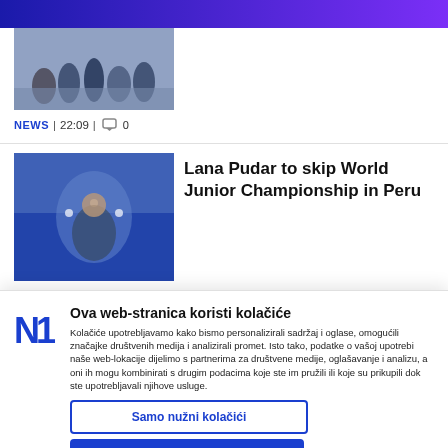[Figure (photo): Top gradient header bar with blue-to-purple gradient]
[Figure (photo): Group of people photo, partially visible at top of page]
NEWS | 22:09 | 0
[Figure (photo): Photo of Lana Pudar holding a flag with a medal]
Lana Pudar to skip World Junior Championship in Peru
Ova web-stranica koristi kolačiće
Kolačiće upotrebljavamo kako bismo personalizirali sadržaj i oglase, omogućili značajke društvenih medija i analizirali promet. Isto tako, podatke o vašoj upotrebi naše web-lokacije dijelimo s partnerima za društvene medije, oglašavanje i analizu, a oni ih mogu kombinirati s drugim podacima koje ste im pružili ili koje su prikupili dok ste upotrebljavali njihove usluge.
Samo nužni kolačići
Omogući sve kolačiće
Prikaži detalje